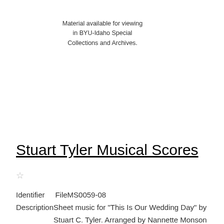Material available for viewing in BYU-Idaho Special Collections and Archives.
Stuart Tyler Musical Scores
☆
Identifier    FileMS0059-08
Description Sheet music for "This Is Our Wedding Day" by Stuart C. Tyler. Arranged by Nannette Monson Kern.